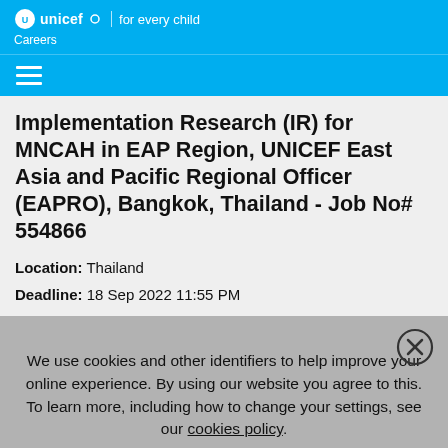unicef | for every child
Careers
Implementation Research (IR) for MNCAH in EAP Region, UNICEF East Asia and Pacific Regional Officer (EAPRO), Bangkok, Thailand - Job No# 554866
Location: Thailand
Deadline: 18 Sep 2022 11:55 PM
We use cookies and other identifiers to help improve your online experience. By using our website you agree to this. To learn more, including how to change your settings, see our cookies policy.